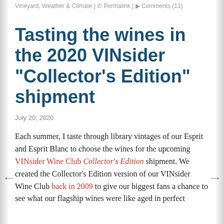Vineyard, Weather & Climate | Permalink | Comments (11)
Tasting the wines in the 2020 VINsider "Collector's Edition" shipment
July 20, 2020
Each summer, I taste through library vintages of our Esprit and Esprit Blanc to choose the wines for the upcoming VINsider Wine Club Collector's Edition shipment. We created the Collector's Edition version of our VINsider Wine Club back in 2009 to give our biggest fans a chance to see what our flagship wines were like aged in perfect